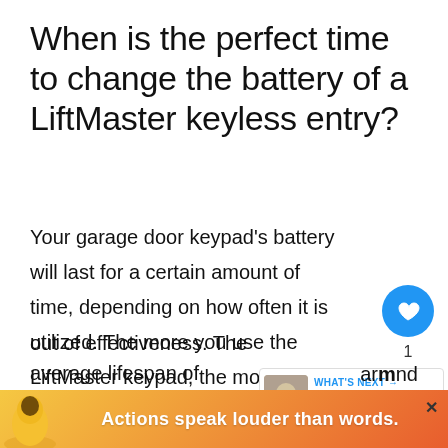When is the perfect time to change the battery of a LiftMaster keyless entry?
Your garage door keypad's battery will last for a certain amount of time, depending on how often it is utilized. The more you use the LiftMaster keypad, the more power it will consume and the sooner its battery out of effectiveness. The average lifespan of a …around
WHAT'S NEXT → How To Replace The...
Actions speak louder than words.